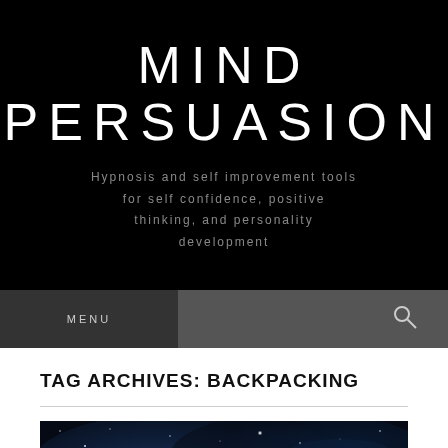MIND PERSUASION
Hypnosis and self improvement tools for self confidence, positive thinking, and personality development
MENU
TAG ARCHIVES: BACKPACKING
[Figure (photo): Dark blue abstract space/nebula background with stars and light patterns]